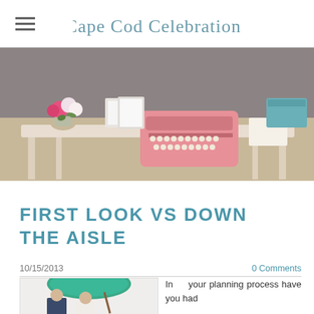Cape Cod Celebrations
[Figure (photo): A decorative white table with a pink vintage typewriter, floral arrangements with pink and white flowers, white picture frames, and a teal decorative box against a weathered shingle wall background.]
FIRST LOOK VS DOWN THE AISLE
10/15/2013
0 Comments
[Figure (photo): A bride and groom sharing a moment under a teal/green umbrella, both smiling, groom in navy suit.]
In your planning process have you had